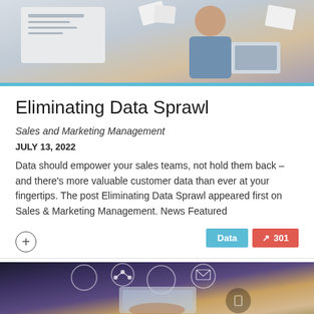[Figure (photo): Person holding papers and a laptop in an office setting]
Eliminating Data Sprawl
Sales and Marketing Management
JULY 13, 2022
Data should empower your sales teams, not hold them back – and there's more valuable customer data than ever at your fingertips. The post Eliminating Data Sprawl appeared first on Sales & Marketing Management. News Featured
[Figure (photo): Person using a tablet with digital social media and communication icons overlaid]